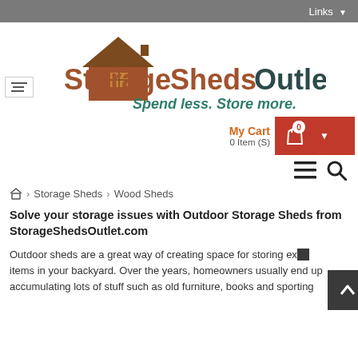Links
[Figure (logo): StorageShedsOutlet logo with house icon and tagline 'Spend less. Store more.']
My Cart 0 Item(S)
🏠 > Storage Sheds > Wood Sheds
Solve your storage issues with Outdoor Storage Sheds from StorageShedsOutlet.com
Outdoor sheds are a great way of creating space for storing extra items in your backyard. Over the years, homeowners usually end up accumulating lots of stuff such as old furniture, books and sporting